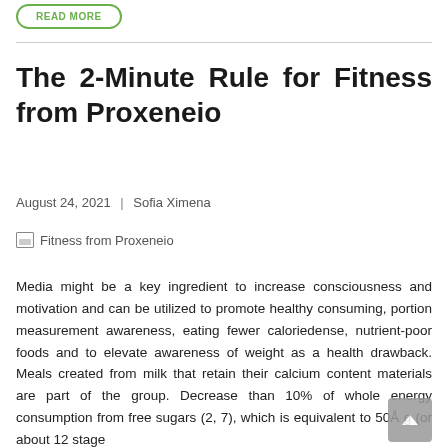READ MORE
The 2-Minute Rule for Fitness from Proxeneio
August 24, 2021 | Sofia Ximena
[Figure (photo): Fitness from Proxeneio image placeholder]
Media might be a key ingredient to increase consciousness and motivation and can be utilized to promote healthy consuming, portion measurement awareness, eating fewer caloriedense, nutrient-poor foods and to elevate awareness of weight as a health drawback. Meals created from milk that retain their calcium content materials are part of the group. Decrease than 10% of whole energy consumption from free sugars (2, 7), which is equivalent to 50Å g (or about 12 stage